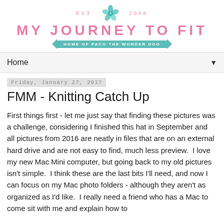[Figure (logo): My Journey To Fit blog logo with teal hibiscus flower, EST 2008, pink title text, and teal banner 'HOME OF PACO THE WONDER DOG']
Home
Friday, January 27, 2017
FMM - Knitting Catch Up
First things first - let me just say that finding these pictures was a challenge, considering I finished this hat in September and all pictures from 2016 are neatly in files that are on an external hard drive and are not easy to find, much less preview.  I love my new Mac Mini computer, but going back to my old pictures isn't simple.  I think these are the last bits I'll need, and now I can focus on my Mac photo folders - although they aren't as organized as I'd like.  I really need a friend who has a Mac to come sit with me and explain how to